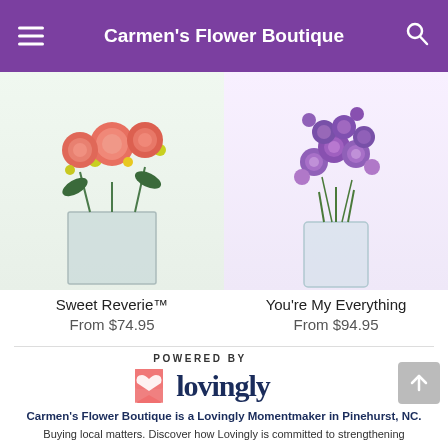Carmen's Flower Boutique
[Figure (photo): Photo of Sweet Reverie flower arrangement in a square glass vase with coral roses and yellow accents]
Sweet Reverie™
From $74.95
[Figure (photo): Photo of You're My Everything flower arrangement in a cylindrical glass vase with purple orchids]
You're My Everything
From $94.95
[Figure (logo): Powered by Lovingly logo with pink heart bookmark icon and navy text]
Carmen's Flower Boutique is a Lovingly Momentmaker in Pinehurst, NC.
Buying local matters. Discover how Lovingly is committed to strengthening relationships by helping local florists market, sell, and deliver their floral designs online.